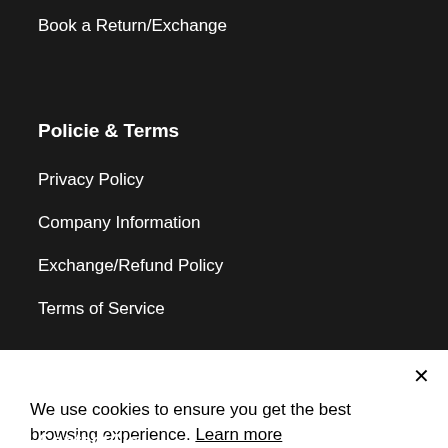Book a Return/Exchange
Policie & Terms
Privacy Policy
Company Information
Exchange/Refund Policy
Terms of Service
We use cookies to ensure you get the best browsing experience. Learn more
Decline | Accept
Contact Us